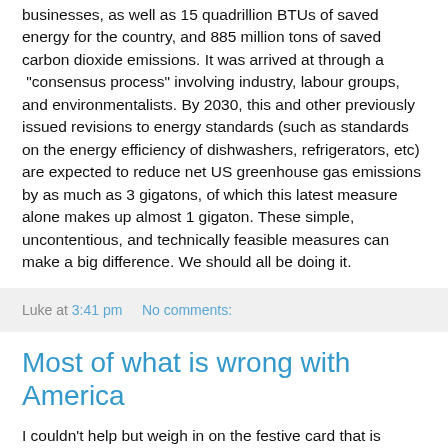businesses, as well as 15 quadrillion BTUs of saved energy for the country, and 885 million tons of saved carbon dioxide emissions. It was arrived at through a "consensus process" involving industry, labour groups, and environmentalists. By 2030, this and other previously issued revisions to energy standards (such as standards on the energy efficiency of dishwashers, refrigerators, etc) are expected to reduce net US greenhouse gas emissions by as much as 3 gigatons, of which this latest measure alone makes up almost 1 gigaton. These simple, uncontentious, and technically feasible measures can make a big difference. We should all be doing it.
Luke at 3:41 pm    No comments:
Most of what is wrong with America
I couldn't help but weigh in on the festive card that is making the rounds of the press and the interwebs. The bizarre Christmas card sent out by Nevada congresswoman Michele